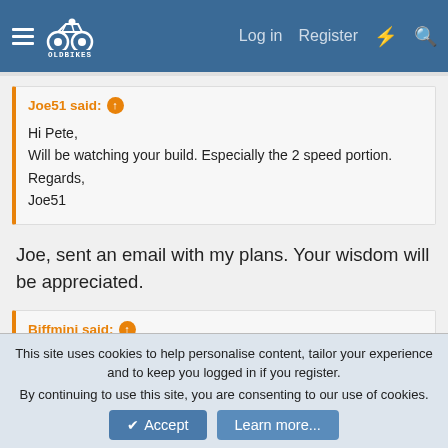OldBikes forum navigation — Log in | Register
Joe51 said: ↑
Hi Pete,
Will be watching your build. Especially the 2 speed portion.
Regards,
Joe51
Joe, sent an email with my plans. Your wisdom will be appreciated.
Biffmini said: ↑
Nice! I'm sure it will be one of the nicest
Lil Indian's around...
This site uses cookies to help personalise content, tailor your experience and to keep you logged in if you register.
By continuing to use this site, you are consenting to our use of cookies.